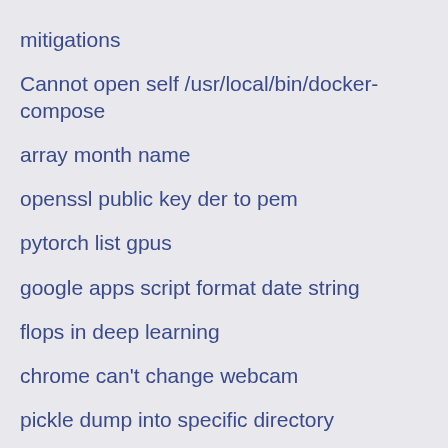mitigations
Cannot open self /usr/local/bin/docker-compose
array month name
openssl public key der to pem
pytorch list gpus
google apps script format date string
flops in deep learning
chrome can't change webcam
pickle dump into specific directory
how to open chrome in vbscript
Matlab
to detect if a data frame has nan values
matlab how to set figure size so you can see plot